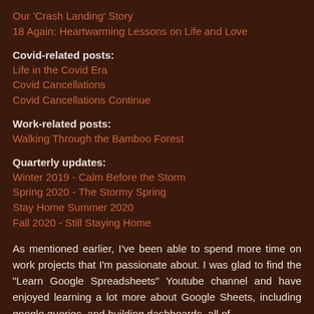Our 'Crash Landing' Story
18 Again: Heartwarming Lessons on Life and Love
Covid-related posts:
Life in the Covid Era
Covid Cancellations
Covid Cancellations Continue
Work-related posts:
Walking Through the Bamboo Forest
Quarterly updates:
Winter 2019 - Calm Before the Storm
Spring 2020 - The Stormy Spring
Stay Home Summer 2020
Fall 2020 - Still Staying Home
As mentioned earlier, I've been able to spend more time on work projects that I'm passionate about. I was glad to find the "Learn Google Spreadsheets" Youtube channel and have enjoyed learning a lot more about Google Sheets, including google queries, and building dashboards, all of